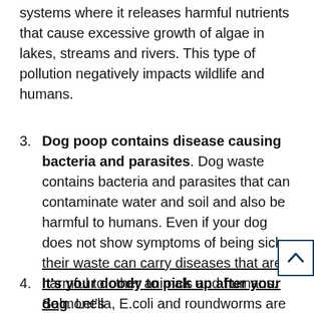systems where it releases harmful nutrients that cause excessive growth of algae in lakes, streams and rivers. This type of pollution negatively impacts wildlife and humans.
3. Dog poop contains disease causing bacteria and parasites. Dog waste contains bacteria and parasites that can contaminate water and soil and also be harmful to humans. Even if your dog does not show symptoms of being sick, their waste can carry diseases that are harmful to other animals and humans. Salmonella, E.coli and roundworms are a few of the diseases that can be found in dog poop.
4. It’s your doody to pick up after your dog. Let’s